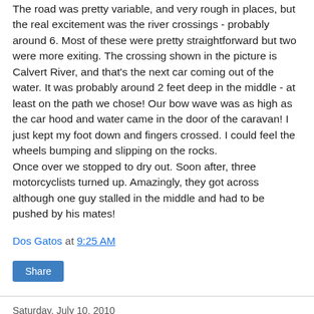The road was pretty variable, and very rough in places, but the real excitement was the river crossings - probably around 6. Most of these were pretty straightforward but two were more exiting. The crossing shown in the picture is Calvert River, and that's the next car coming out of the water. It was probably around 2 feet deep in the middle - at least on the path we chose! Our bow wave was as high as the car hood and water came in the door of the caravan! I just kept my foot down and fingers crossed. I could feel the wheels bumping and slipping on the rocks.
Once over we stopped to dry out. Soon after, three motorcyclists turned up. Amazingly, they got across although one guy stalled in the middle and had to be pushed by his mates!
Dos Gatos at 9:25 AM
Share
Saturday, July 10, 2010
WWII Strauss Airfield